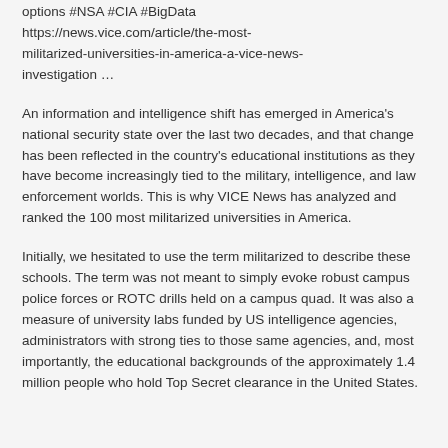options #NSA #CIA #BigData https://news.vice.com/article/the-most-militarized-universities-in-america-a-vice-news-investigation …
An information and intelligence shift has emerged in America's national security state over the last two decades, and that change has been reflected in the country's educational institutions as they have become increasingly tied to the military, intelligence, and law enforcement worlds. This is why VICE News has analyzed and ranked the 100 most militarized universities in America.
Initially, we hesitated to use the term militarized to describe these schools. The term was not meant to simply evoke robust campus police forces or ROTC drills held on a campus quad. It was also a measure of university labs funded by US intelligence agencies, administrators with strong ties to those same agencies, and, most importantly, the educational backgrounds of the approximately 1.4 million people who hold Top Secret clearance in the United States.